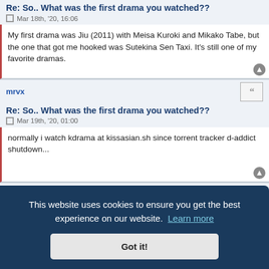Re: So.. What was the first drama you watched??
Mar 18th, '20, 16:06
My first drama was Jiu (2011) with Meisa Kuroki and Mikako Tabe, but the one that got me hooked was Sutekina Sen Taxi. It's still one of my favorite dramas.
mrvx
Re: So.. What was the first drama you watched??
Mar 19th, '20, 01:00
normally i watch kdrama at kissasian.sh since torrent tracker d-addict shutdown...
This website uses cookies to ensure you get the best experience on our website.  Learn more
Got it!
ned but i said lets watch Hong gil dong ... and that was the point for me to fall in love with